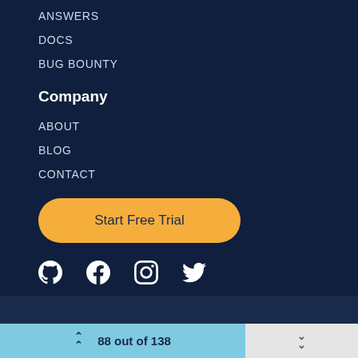ANSWERS
DOCS
BUG BOUNTY
Company
ABOUT
BLOG
CONTACT
[Figure (other): Start Free Trial button - yellow rounded button]
[Figure (other): Social media icons row: GitHub, Facebook, Instagram, Twitter]
88 out of 138